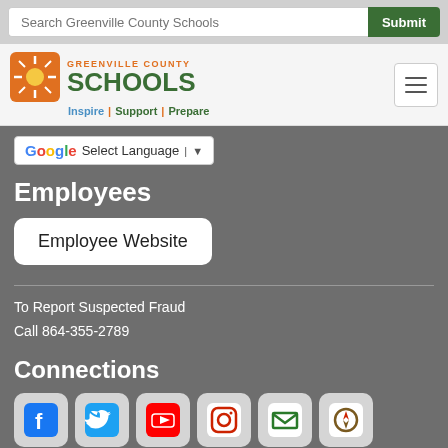Search Greenville County Schools | Submit
[Figure (logo): Greenville County Schools logo with sun icon, text 'GREENVILLE COUNTY SCHOOLS', tagline 'Inspire | Support | Prepare']
Select Language
Employees
Employee Website
To Report Suspected Fraud
Call 864-355-2789
Connections
[Figure (other): Social media icons: Facebook, Twitter, YouTube, Instagram, Email, Compass/Navigator]